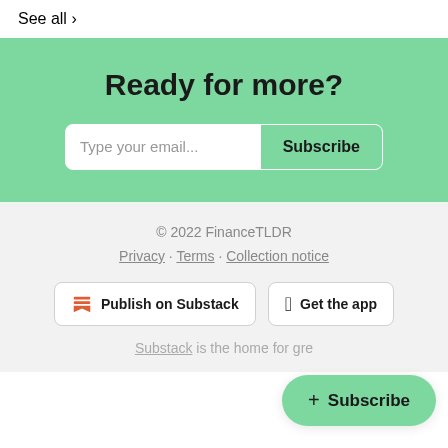See all >
Ready for more?
Type your email... Subscribe
© 2022 FinanceTLDR
Privacy · Terms · Collection notice
Publish on Substack
Get the app
Substack is the home for gre…
+ Subscribe